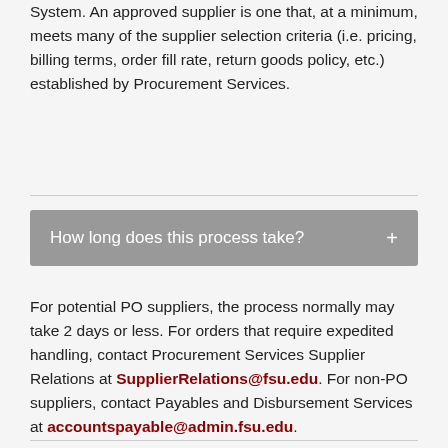System. An approved supplier is one that, at a minimum, meets many of the supplier selection criteria (i.e. pricing, billing terms, order fill rate, return goods policy, etc.) established by Procurement Services.
How long does this process take? +
For potential PO suppliers, the process normally may take 2 days or less. For orders that require expedited handling, contact Procurement Services Supplier Relations at SupplierRelations@fsu.edu. For non-PO suppliers, contact Payables and Disbursement Services at accountspayable@admin.fsu.edu.